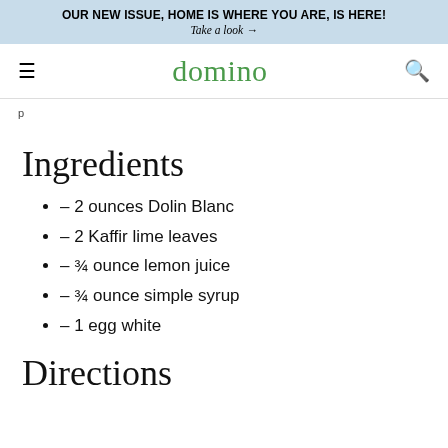OUR NEW ISSUE, HOME IS WHERE YOU ARE, IS HERE!
Take a look →
domino
p
Ingredients
– 2 ounces Dolin Blanc
– 2 Kaffir lime leaves
– ¾ ounce lemon juice
– ¾ ounce simple syrup
– 1 egg white
Directions